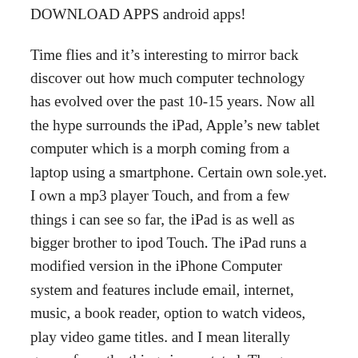DOWNLOAD APPS android apps!
Time flies and it’s interesting to mirror back discover out how much computer technology has evolved over the past 10-15 years. Now all the hype surrounds the iPad, Apple’s new tablet computer which is a morph coming from a laptop using a smartphone. Certain own sole.yet. I own a mp3 player Touch, and from a few things i can see so far, the iPad is as well as bigger brother to ipod Touch. The iPad runs a modified version in the iPhone Computer system and features include email, internet, music, a book reader, option to watch videos, play video game titles. and I mean literally games from the things i was stated. The game Monopoly is just too difficult to play on the ipod Touch,